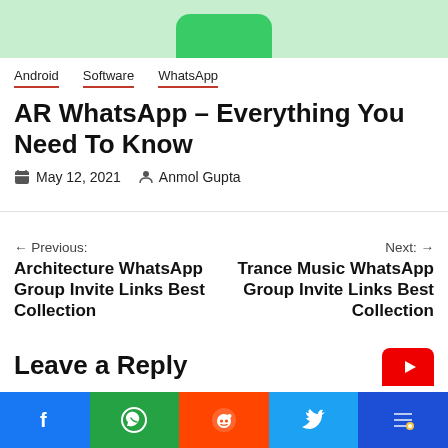[Figure (illustration): Top portion of a WhatsApp-themed green illustration/screenshot, cropped at top of page]
Android   Software   WhatsApp
AR WhatsApp – Everything You Need To Know
May 12, 2021   Anmol Gupta
← Previous: Architecture WhatsApp Group Invite Links Best Collection
Next: → Trance Music WhatsApp Group Invite Links Best Collection
Leave a Reply
[Figure (infographic): Social sharing bar at bottom: Facebook (blue), WhatsApp (green), Reddit (orange-red), Twitter (light blue), other (dark blue)]